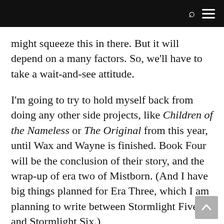might squeeze this in there. But it will depend on a many factors. So, we'll have to take a wait-and-see attitude.
I'm going to try to hold myself back from doing any other side projects, like Children of the Nameless or The Original from this year, until Wax and Wayne is finished. Book Four will be the conclusion of their story, and the wrap-up of era two of Mistborn. (And I have big things planned for Era Three, which I am planning to write between Stormlight Five and Stormlight Six.)